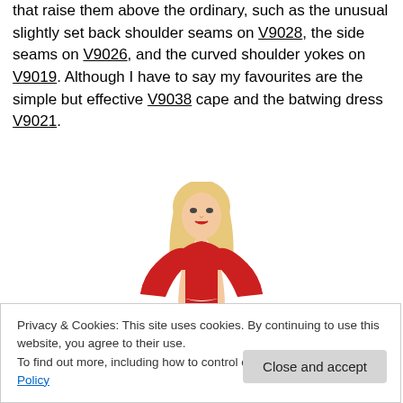that raise them above the ordinary, such as the unusual slightly set back shoulder seams on V9028, the side seams on V9026, and the curved shoulder yokes on V9019. Although I have to say my favourites are the simple but effective V9038 cape and the batwing dress V9021.
[Figure (illustration): Fashion illustration of a blonde woman wearing a red batwing-sleeve dress with a fitted skirt and thin belt]
Privacy & Cookies: This site uses cookies. By continuing to use this website, you agree to their use.
To find out more, including how to control cookies, see here: Cookie Policy